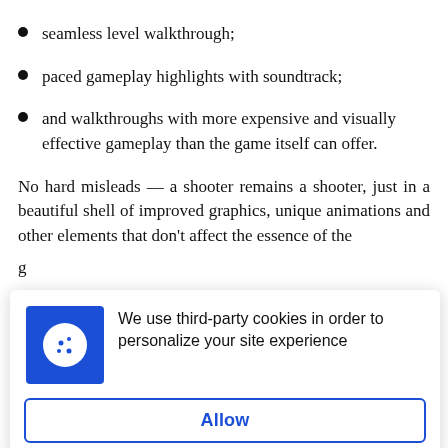seamless level walkthrough;
paced gameplay highlights with soundtrack;
and walkthroughs with more expensive and visually effective gameplay than the game itself can offer.
No hard misleads — a shooter remains a shooter, just in a beautiful shell of improved graphics, unique animations and other elements that don't affect the essence of the
[Figure (screenshot): Cookie consent popup overlay showing a blue cookie icon on the left and text 'We use third-party cookies in order to personalize your site experience' on the right, with an 'Allow' button below.]
WormsZone was one of those exceptions: most of the